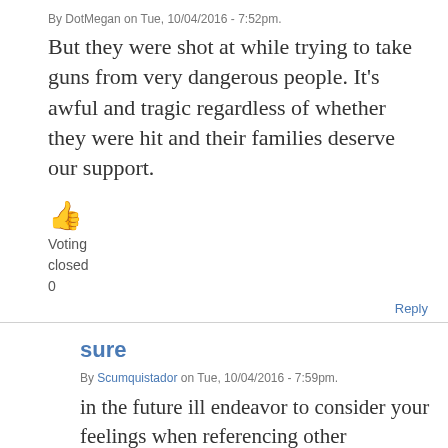By DotMegan on Tue, 10/04/2016 - 7:52pm.
But they were shot at while trying to take guns from very dangerous people. It's awful and tragic regardless of whether they were hit and their families deserve our support.
[Figure (illustration): Thumbs up emoji icon in orange/yellow color]
Voting
closed
0
Reply
sure
By Scumquistador on Tue, 10/04/2016 - 7:59pm.
in the future ill endeavor to consider your feelings when referencing other